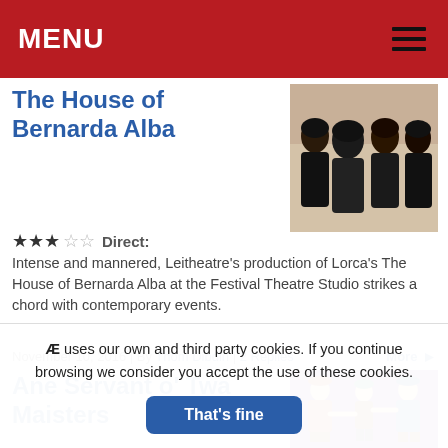MENU
The House of Bernarda Alba
[Figure (photo): Four women dressed in black, a production photo from The House of Bernarda Alba]
★★★☆☆ Direct: Intense and mannered, Leitheatre's production of Lorca's The House of Bernarda Alba at the Festival Theatre Studio strikes a chord with contemporary events.
November 10, 2016 | By Thom Dibdin | 2 Replies   More ➡
Ane Servant o' Twa Maisters
[Figure (illustration): Colorful illustrated cartoon of three costumed characters on a purple background]
Æ uses our own and third party cookies. If you continue browsing we consider you accept the use of these cookies.
That's fine